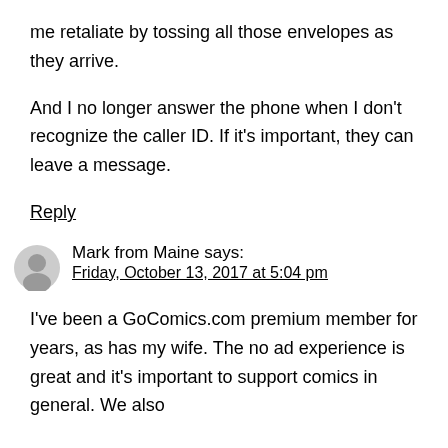me retaliate by tossing all those envelopes as they arrive.
And I no longer answer the phone when I don't recognize the caller ID. If it's important, they can leave a message.
Reply
Mark from Maine says:
Friday, October 13, 2017 at 5:04 pm
I've been a GoComics.com premium member for years, as has my wife. The no ad experience is great and it's important to support comics in general. We also